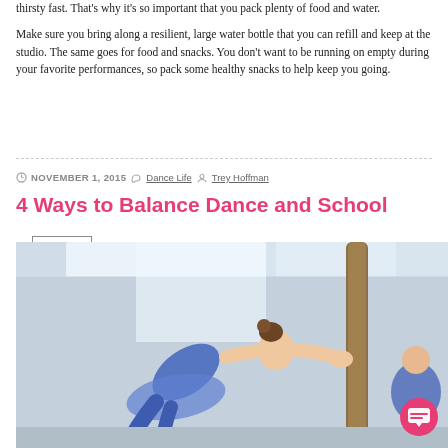thirsty fast. That's why it's so important that you pack plenty of food and water.
Make sure you bring along a resilient, large water bottle that you can refill and keep at the studio. The same goes for food and snacks. You don't want to be running on empty during your favorite performances, so pack some healthy snacks to help keep you going.
READ MORE +
NOVEMBER 1, 2015  Dance Life  Trey Hoffman
4 Ways to Balance Dance and School
[Figure (photo): A young female ballet dancer in a blue leotard and skirt bending forward at a ballet barre, smiling. Another dancer in blue is visible in the background.]